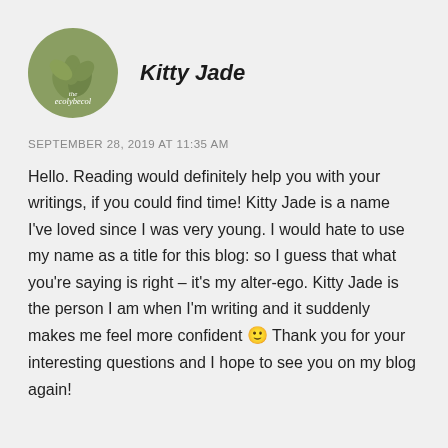[Figure (logo): Circular olive-green logo with leaf/plant motif and text 'the ecobycol' in white]
Kitty Jade
SEPTEMBER 28, 2019 AT 11:35 AM
Hello. Reading would definitely help you with your writings, if you could find time! Kitty Jade is a name I've loved since I was very young. I would hate to use my name as a title for this blog: so I guess that what you're saying is right – it's my alter-ego. Kitty Jade is the person I am when I'm writing and it suddenly makes me feel more confident 🙂 Thank you for your interesting questions and I hope to see you on my blog again!